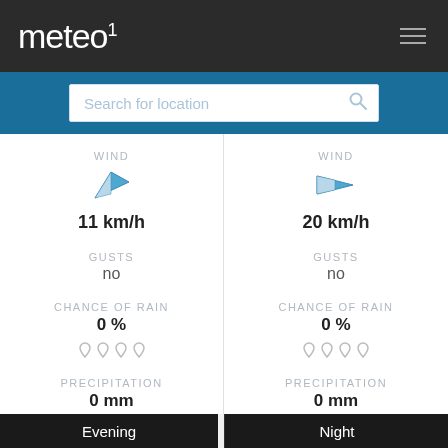meteo¹
Search for location
WIND
11 km/h
GUSTS
no
CHANCE OF RAIN
0 %
PRECIPITATION
0 mm
WIND
20 km/h
GUSTS
no
CHANCE OF RAIN
0 %
PRECIPITATION
0 mm
Evening
Night